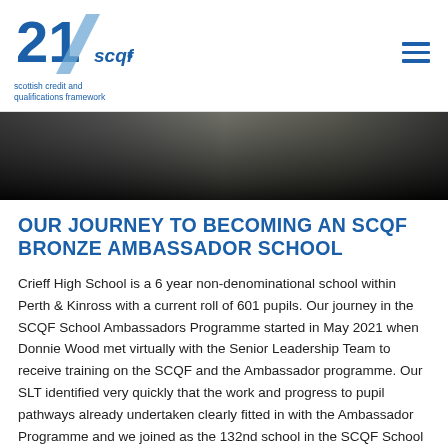[Figure (logo): SCQF logo — '21' in blue with diagonal stripe and 'scqf' text, tagline 'scottish credit and qualifications framework']
[Figure (photo): A dark gradient hero banner image, transitioning from dark grey/black at edges to lighter tones in the centre]
OUR JOURNEY TO BECOMING AN SCQF BRONZE AMBASSADOR SCHOOL
Crieff High School is a 6 year non-denominational school within Perth & Kinross with a current roll of 601 pupils. Our journey in the SCQF School Ambassadors Programme started in May 2021 when Donnie Wood met virtually with the Senior Leadership Team to receive training on the SCQF and the Ambassador programme. Our SLT identified very quickly that the work and progress to pupil pathways already undertaken clearly fitted in with the Ambassador Programme and we joined as the 132nd school in the SCQF School